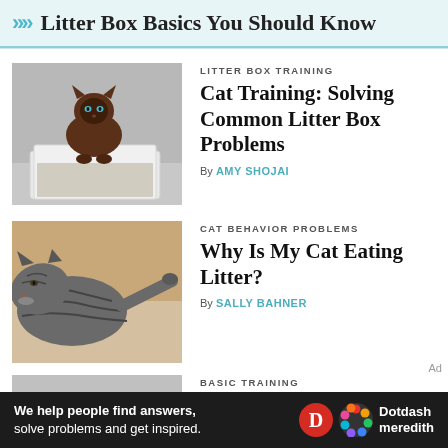Litter Box Basics You Should Know
LITTER BOX TRAINING
Cat Training: Solving Common Litter Box Problems
By AMY SHOJAI
[Figure (photo): A Siamese cat sitting in a white litter box against a gray wall]
CAT BEHAVIOR PROBLEMS
Why Is My Cat Eating Litter?
By SALLY BAHNER
[Figure (photo): A tabby cat with head down, sniffing or eating litter on a beige surface]
BASIC TRAINING
We help people find answers, solve problems and get inspired.
Dotdash meredith